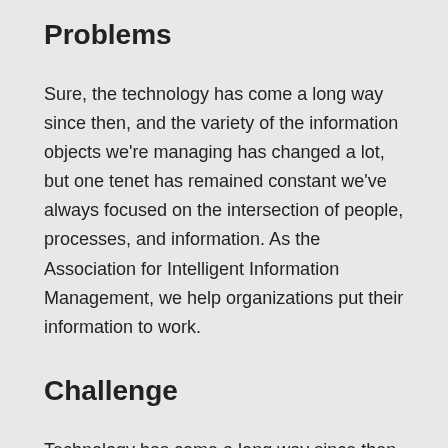Problems
Sure, the technology has come a long way since then, and the variety of the information objects we're managing has changed a lot, but one tenet has remained constant we've always focused on the intersection of people, processes, and information. As the Association for Intelligent Information Management, we help organizations put their information to work.
Challenge
Technology has come a long way since then, and